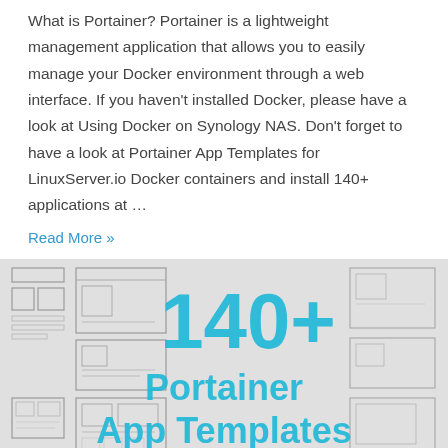What is Portainer? Portainer is a lightweight management application that allows you to easily manage your Docker environment through a web interface. If you haven't installed Docker, please have a look at Using Docker on Synology NAS. Don't forget to have a look at Portainer App Templates for LinuxServer.io Docker containers and install 140+ applications at …
Read More »
[Figure (illustration): Banner image with wireframe/UI sketches in background and large cyan text reading '140+ Portainer App Templates']